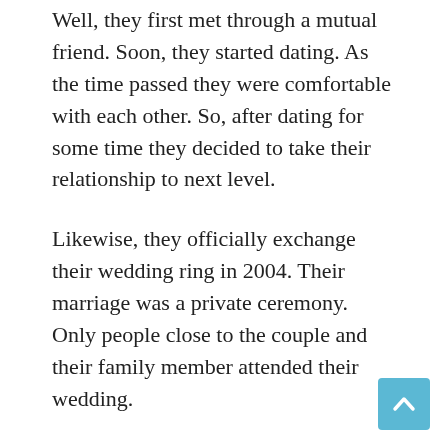Well, they first met through a mutual friend. Soon, they started dating. As the time passed they were comfortable with each other. So, after dating for some time they decided to take their relationship to next level.
Likewise, they officially exchange their wedding ring in 2004. Their marriage was a private ceremony. Only people close to the couple and their family member attended their wedding.
Sadly, as the time passed things didn’t go as planned and they decided to part ways. So in 2011, they legally divorced each other. However, the couple has not still openly talked about the reason behind their separation.
Additionally, in their 7-year-long marriage life, they also didn’t welcome any children. Also, many people believe that the couple…